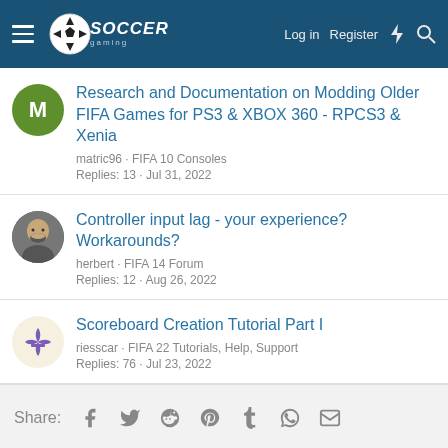Soccer Gaming — Log in  Register
Research and Documentation on Modding Older FIFA Games for PS3 & XBOX 360 - RPCS3 & Xenia
matric96 · FIFA 10 Consoles
Replies: 13 · Jul 31, 2022
Controller input lag - your experience? Workarounds?
herbert · FIFA 14 Forum
Replies: 12 · Aug 26, 2022
Scoreboard Creation Tutorial Part I
riesscar · FIFA 22 Tutorials, Help, Support
Replies: 76 · Jul 23, 2022
Share: